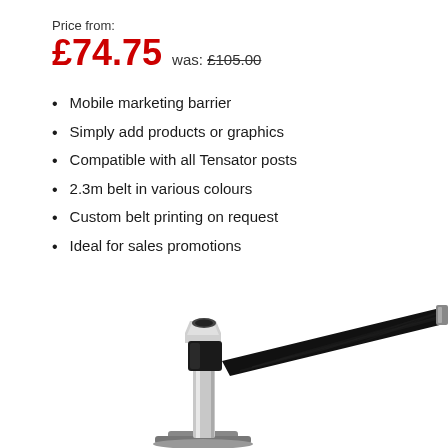Price from:
£74.75  was: £105.00
Mobile marketing barrier
Simply add products or graphics
Compatible with all Tensator posts
2.3m belt in various colours
Custom belt printing on request
Ideal for sales promotions
[Figure (photo): A chrome and black Tensator retractable belt barrier post with black belt extended diagonally to the right]